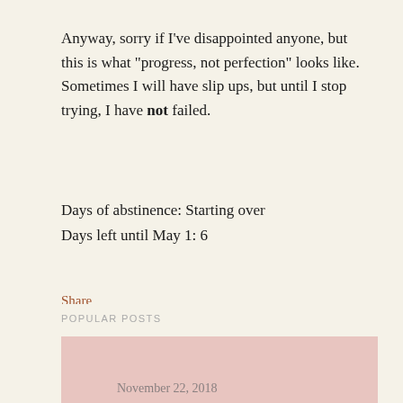Anyway, sorry if I've disappointed anyone, but this is what "progress, not perfection" looks like. Sometimes I will have slip ups, but until I stop trying, I have not failed.
Days of abstinence: Starting over
Days left until May 1: 6
Share
COMMENTS
POST A COMMENT
POPULAR POSTS
November 22, 2018